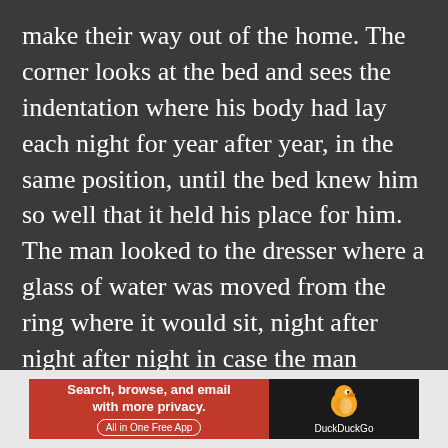make their way out of the home. The corner looks at the bed and sees the indentation where his body had lay each night for year after year, in the same position, until the bed knew him so well that it held his place for him. The man looked to the dresser where a glass of water was moved from the ring where it would sit, night after night after night in case the man needed something to drink. The coroner looked at the rug and saw the path the man would take every day, from bed to bath to closet to door and door to closet to bath to bed. The coroner knelt and picked up the emptied bottle of sleeping
[Figure (other): DuckDuckGo advertisement banner: orange left section reads 'Search, browse, and email with more privacy. All in One Free App' and dark right section shows DuckDuckGo logo with duck icon.]